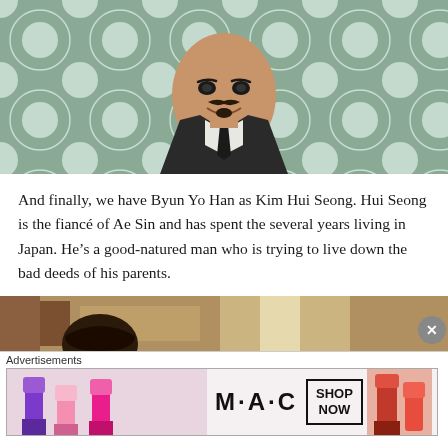[Figure (photo): A man in a suit and tie with a mustache and goatee, smiling, photographed against a blurred geometric patterned background]
And finally, we have Byun Yo Han as Kim Hui Seong. Hui Seong is the fiancé of Ae Sin and has spent the several years living in Japan. He's a good-natured man who is trying to live down the bad deeds of his parents.
[Figure (photo): Partial view of a person, only top of head visible, indoor setting with warm lighting]
Advertisements
[Figure (photo): MAC cosmetics advertisement showing colorful lipsticks with SHOP NOW button]